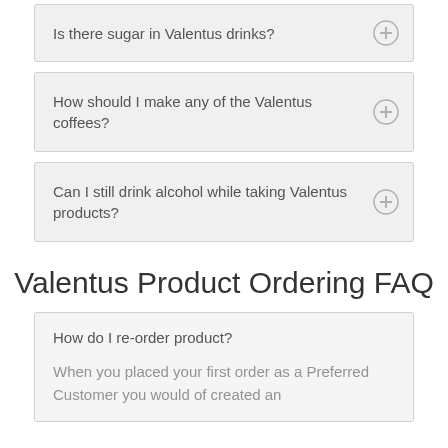Is there sugar in Valentus drinks?
How should I make any of the Valentus coffees?
Can I still drink alcohol while taking Valentus products?
Valentus Product Ordering FAQ
How do I re-order product?
When you placed your first order as a Preferred Customer you would of created an